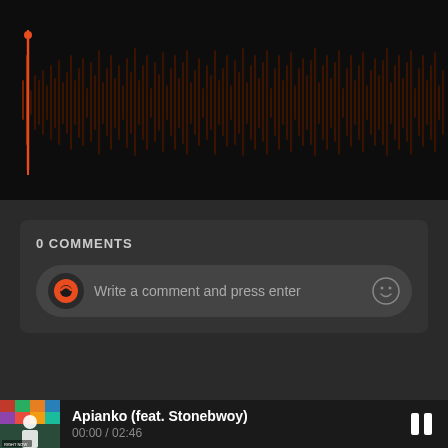[Figure (other): Audio waveform visualization showing dark red/orange waveform bars against a near-black background, with a red playhead marker near the left side.]
0 COMMENTS
Write a comment and press enter
[Figure (other): Album art thumbnail showing a man in white shirt against a colorful background, with 'RIGHT NOW' text visible.]
Apianko (feat. Stonebwoy)
00:00 / 02:46